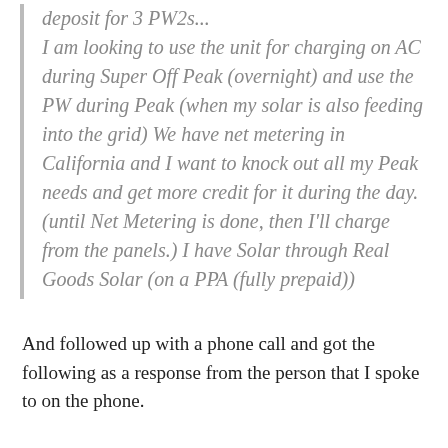deposit for 3 PW2s... I am looking to use the unit for charging on AC during Super Off Peak (overnight) and use the PW during Peak (when my solar is also feeding into the grid) We have net metering in California and I want to knock out all my Peak needs and get more credit for it during the day. (until Net Metering is done, then I'll charge from the panels.) I have Solar through Real Goods Solar (on a PPA (fully prepaid))
And followed up with a phone call and got the following as a response from the person that I spoke to on the phone.